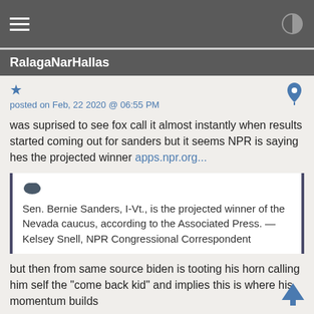RalagaNarHallas
posted on Feb, 22 2020 @ 06:55 PM
was suprised to see fox call it almost instantly when results started coming out for sanders but it seems NPR is saying hes the projected winner apps.npr.org...
Sen. Bernie Sanders, I-Vt., is the projected winner of the Nevada caucus, according to the Associated Press. — Kelsey Snell, NPR Congressional Correspondent
but then from same source biden is tooting his horn calling him self the "come back kid" and implies this is where his momentum builds
Former Vice President Joe Biden said Saturday that his campaign is positioned for a comeback, after lackluster